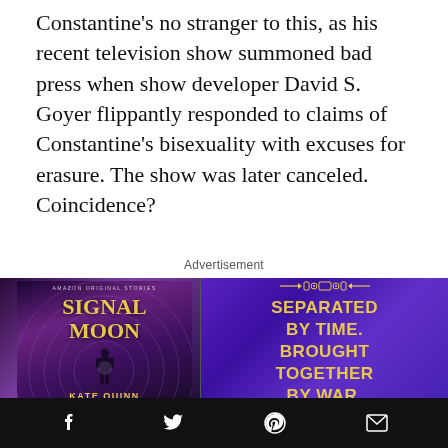Constantine's no stranger to this, as his recent television show summoned bad press when show developer David S. Goyer flippantly responded to claims of Constantine's bisexuality with excuses for erasure. The show was later canceled. Coincidence?
Advertisement
[Figure (photo): Advertisement for 'Signal Moon' by Kate Quinn (Amazon Original Stories). Shows a book cover on the left with a silhouetted figure against a purple/violet background with concentric circles and a moon. On the right panel in purple: 'SEPARATED BY TIME. BROUGHT TOGETHER BY WAR.' in gold/yellow text.]
Social sharing bar with Facebook, Twitter, Pinterest, and Email icons